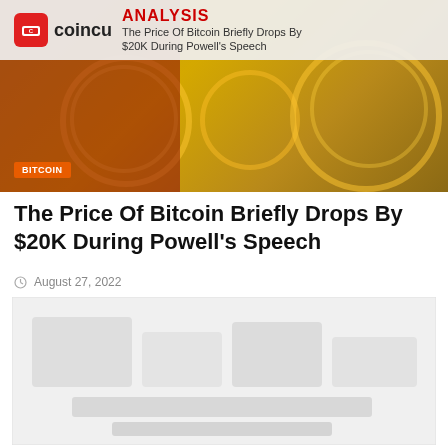[Figure (photo): Coincu Analysis banner with logo and Bitcoin coins background image. Top bar shows coincu logo, ANALYSIS heading in red, and subtitle 'The Price Of Bitcoin Briefly Drops By $20K During Powell's Speech'. Bitcoin badge shown bottom-left.]
The Price Of Bitcoin Briefly Drops By $20K During Powell's Speech
August 27, 2022
[Figure (screenshot): A blurred/faded chart or graph image, appears to be a Bitcoin price chart, shown as a light gray placeholder area.]